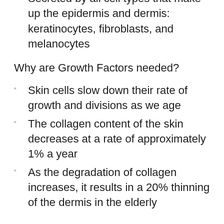Secreted by all cell types that make up the epidermis and dermis: keratinocytes, fibroblasts, and melanocytes
Why are Growth Factors needed?
Skin cells slow down their rate of growth and divisions as we age
The collagen content of the skin decreases at a rate of approximately 1% a year
As the degradation of collagen increases, it results in a 20% thinning of the dermis in the elderly